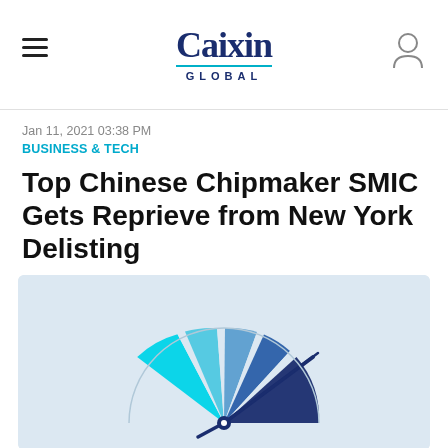Caixin GLOBAL
Jan 11, 2021 03:38 PM
BUSINESS & TECH
Top Chinese Chipmaker SMIC Gets Reprieve from New York Delisting
[Figure (illustration): A speedometer/gauge illustration with segments ranging from cyan/turquoise on the left to dark navy blue on the right, with a dark blue needle pointing to the right side, on a light blue background.]
[Figure (infographic): Social media sharing buttons: Twitter (blue bird), Facebook (blue f), LinkedIn (blue in), Email (blue envelope), Flipboard (red f)]